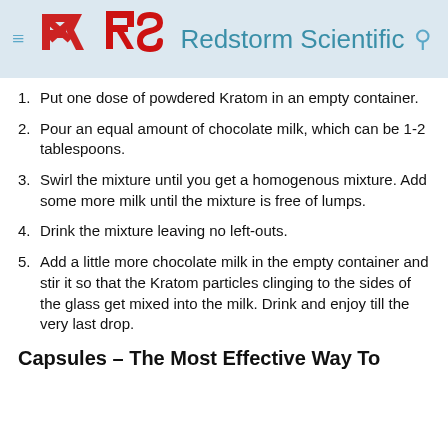Redstorm Scientific
Put one dose of powdered Kratom in an empty container.
Pour an equal amount of chocolate milk, which can be 1-2 tablespoons.
Swirl the mixture until you get a homogenous mixture. Add some more milk until the mixture is free of lumps.
Drink the mixture leaving no left-outs.
Add a little more chocolate milk in the empty container and stir it so that the Kratom particles clinging to the sides of the glass get mixed into the milk. Drink and enjoy till the very last drop.
Capsules – The Most Effective Way To